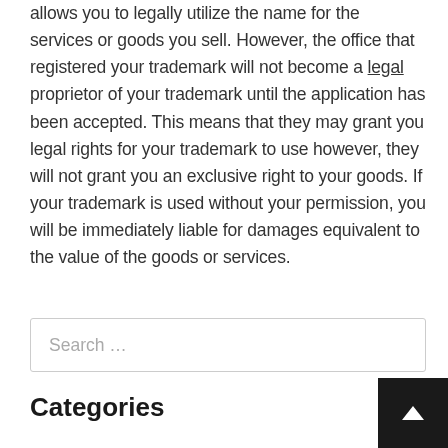allows you to legally utilize the name for the services or goods you sell. However, the office that registered your trademark will not become a legal proprietor of your trademark until the application has been accepted. This means that they may grant you legal rights for your trademark to use however, they will not grant you an exclusive right to your goods. If your trademark is used without your permission, you will be immediately liable for damages equivalent to the value of the goods or services.
Search ...
Categories